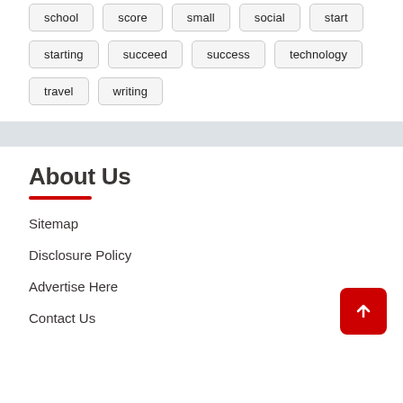school
score
small
social
start
starting
succeed
success
technology
travel
writing
About Us
Sitemap
Disclosure Policy
Advertise Here
Contact Us